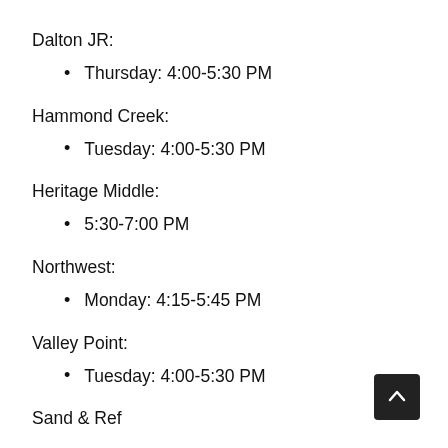Dalton JR:
Thursday: 4:00-5:30 PM
Hammond Creek:
Tuesday: 4:00-5:30 PM
Heritage Middle:
5:30-7:00 PM
Northwest:
Monday: 4:15-5:45 PM
Valley Point:
Tuesday: 4:00-5:30 PM
Sand & Ref…